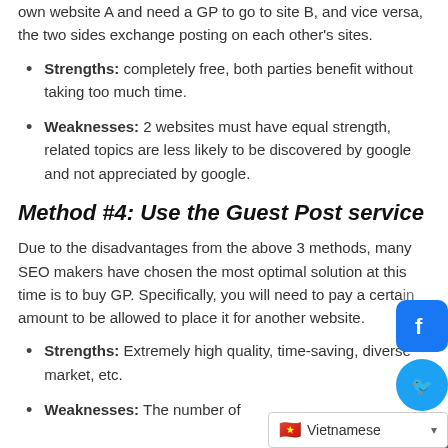own website A and need a GP to go to site B, and vice versa, the two sides exchange posting on each other's sites.
Strengths: completely free, both parties benefit without taking too much time.
Weaknesses: 2 websites must have equal strength, related topics are less likely to be discovered by google and not appreciated by google.
Method #4: Use the Guest Post service
Due to the disadvantages from the above 3 methods, many SEO makers have chosen the most optimal solution at this time is to buy GP. Specifically, you will need to pay a certain amount to be allowed to place it for another website.
Strengths: Extremely high quality, time-saving, diverse market, etc.
Weaknesses: The number of